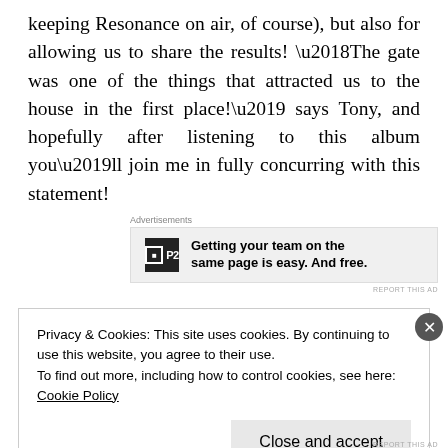keeping Resonance on air, of course), but also for allowing us to share the results! ‘The gate was one of the things that attracted us to the house in the first place!’ says Tony, and hopefully after listening to this album you’ll join me in fully concurring with this statement!
[Figure (other): Advertisement box with P2 logo and text: Getting your team on the same page is easy. And free.]
Privacy & Cookies: This site uses cookies. By continuing to use this website, you agree to their use.
To find out more, including how to control cookies, see here: Cookie Policy